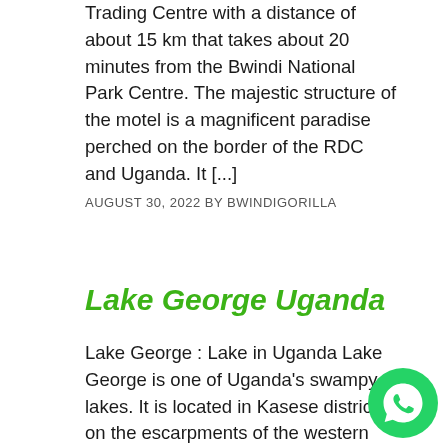Trading Centre with a distance of about 15 km that takes about 20 minutes from the Bwindi National Park Centre. The majestic structure of the motel is a magnificent paradise perched on the border of the RDC and Uganda. It [...]
AUGUST 30, 2022 BY BWINDIGORILLA
Lake George Uganda
Lake George : Lake in Uganda Lake George is one of Uganda's swampy lakes. It is located in Kasese district on the escarpments of the western arm of the great East African rift valley. Lake George Uganda covers a total surface area of 250 square...
[Figure (logo): WhatsApp chat button icon, green circle with white phone handset]